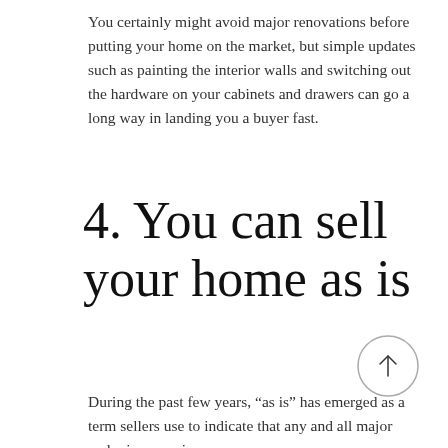You certainly might avoid major renovations before putting your home on the market, but simple updates such as painting the interior walls and switching out the hardware on your cabinets and drawers can go a long way in landing you a buyer fast.
4. You can sell your home as is
During the past few years, “as is” has emerged as a term sellers use to indicate that any and all major and minor repairs